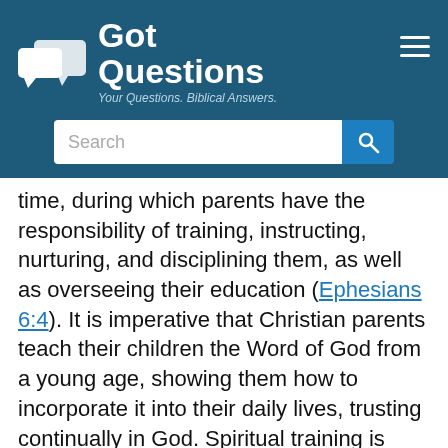GotQuestions — Your Questions. Biblical Answers.
time, during which parents have the responsibility of training, instructing, nurturing, and disciplining them, as well as overseeing their education (Ephesians 6:4). It is imperative that Christian parents teach their children the Word of God from a young age, showing them how to incorporate it into their daily lives, trusting continually in God. Spiritual training is even more important than academic training, and it doesn't happen by accident; it must be purposeful and habitual. The question is which mode of education will best accomplish those goals